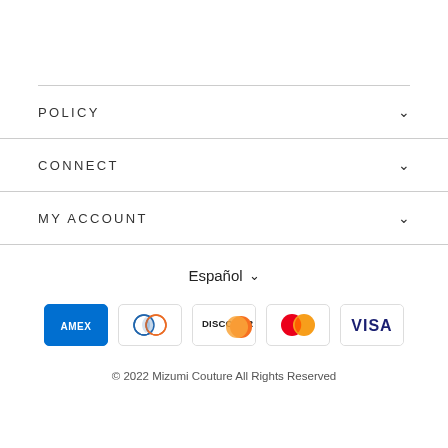POLICY
CONNECT
MY ACCOUNT
Español
[Figure (other): Payment method icons: American Express, Diners Club, Discover, Mastercard, Visa]
© 2022 Mizumi Couture All Rights Reserved